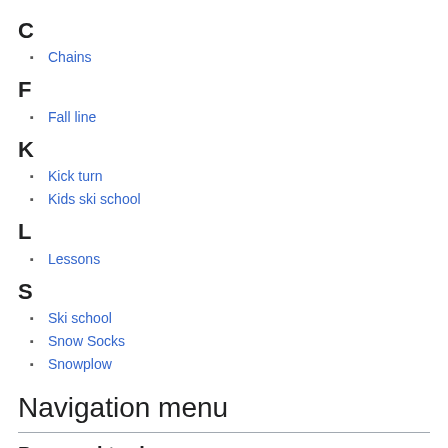C
Chains
F
Fall line
K
Kick turn
Kids ski school
L
Lessons
S
Ski school
Snow Socks
Snowplow
Navigation menu
Personal tools